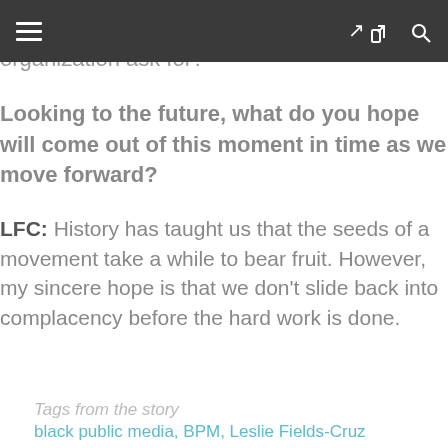≡  [share] [search]
planted. What more could a 40-year-old organization ask for?
Looking to the future, what do you hope will come out of this moment in time as we move forward?
LFC: History has taught us that the seeds of a movement take a while to bear fruit. However, my sincere hope is that we don't slide back into complacency before the hard work is done.
Tags from the story
black public media, BPM, Leslie Fields-Cruz